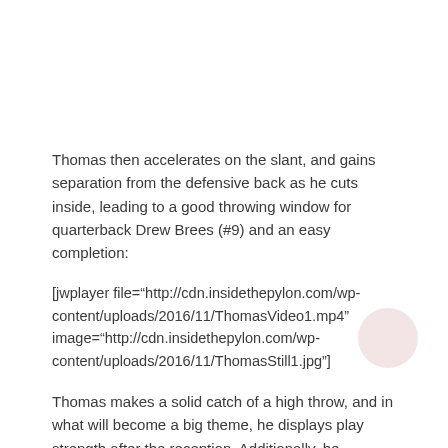Thomas then accelerates on the slant, and gains separation from the defensive back as he cuts inside, leading to a good throwing window for quarterback Drew Brees (#9) and an easy completion:
[jwplayer file="http://cdn.insidethepylon.com/wp-content/uploads/2016/11/ThomasVideo1.mp4" image="http://cdn.insidethepylon.com/wp-content/uploads/2016/11/ThomasStill1.jpg"]
Thomas makes a solid catch of a high throw, and in what will become a big theme, he displays play strength after the reception. Additionally, he manages to stay upright as Mager attempts a high tackle, and falls forward for additional yardage after the catch.